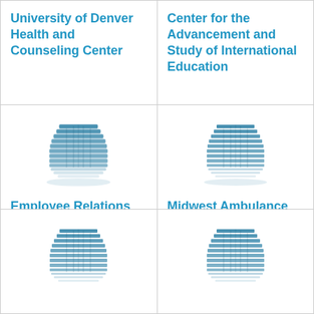University of Denver Health and Counseling Center
Center for the Advancement and Study of International Education
[Figure (illustration): Building/institution icon in blue-teal color]
Employee Relations Associates
[Figure (illustration): Building/institution icon in blue-teal color]
Midwest Ambulance Service of Iowa, Inc.
[Figure (illustration): Building/institution icon in blue-teal color (partial, bottom row)]
[Figure (illustration): Building/institution icon in blue-teal color (partial, bottom row)]